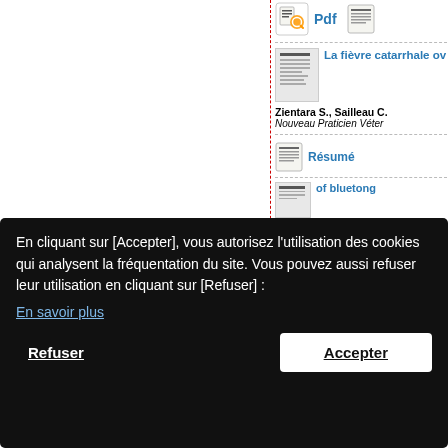[Figure (screenshot): Partial website screenshot showing academic article listings with PDF and Résumé links, overlaid by a cookie consent banner in French.]
Pdf
La fièvre catarrhale ov
Zientara S., Sailleau C.
Nouveau Praticien Véter
Résumé
of bluetong
Cetre-Soss-
of the Intern
ceedings, 11
11, Cairns (A
letection of
En cliquant sur [Accepter], vous autorisez l'utilisation des cookies qui analysent la fréquentation du site. Vous pouvez aussi refuser leur utilisation en cliquant sur [Refuser] :
En savoir plus
Refuser
Accepter
POUR LE DEVELOPPEMENT
Site du
Annua